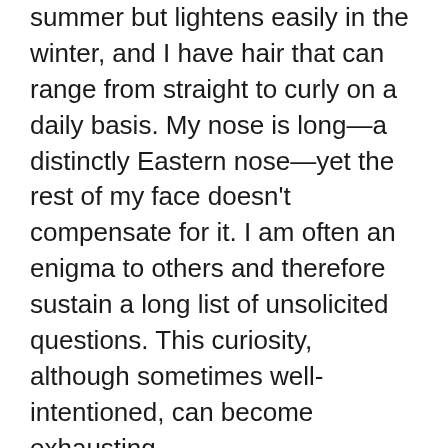summer but lightens easily in the winter, and I have hair that can range from straight to curly on a daily basis. My nose is long—a distinctly Eastern nose—yet the rest of my face doesn't compensate for it. I am often an enigma to others and therefore sustain a long list of unsolicited questions. This curiosity, although sometimes well-intentioned, can become exhausting.
Today, this hyper-sexualization and fetishization of mixed race people has unfortunately become the norm. A disproportionate amount of mixed women experience sexual violence compared to other minority